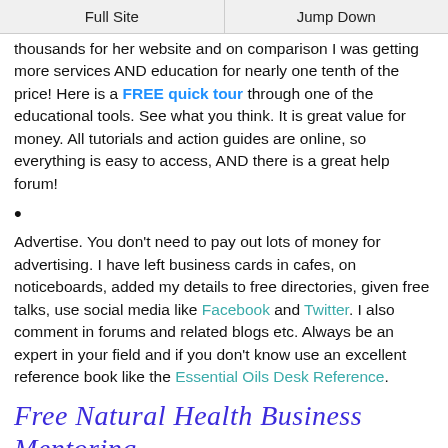Full Site | Jump Down
thousands for her website and on comparison I was getting more services AND education for nearly one tenth of the price! Here is a FREE quick tour through one of the educational tools. See what you think. It is great value for money. All tutorials and action guides are online, so everything is easy to access, AND there is a great help forum!
Advertise. You don't need to pay out lots of money for advertising. I have left business cards in cafes, on noticeboards, added my details to free directories, given free talks, use social media like Facebook and Twitter. I also comment in forums and related blogs etc. Always be an expert in your field and if you don't know use an excellent reference book like the Essential Oils Desk Reference.
Free Natural Health Business Mentoring